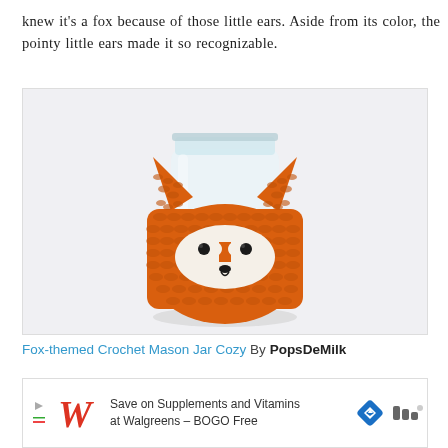knew it's a fox because of those little ears. Aside from its color, the pointy little ears made it so recognizable.
[Figure (photo): A crocheted orange fox-themed mason jar cozy wrapped around a clear glass mason jar. The cozy features pointed fox ears at the top and a white felt fox face with black bead eyes and a small black nose on the front.]
Fox-themed Crochet Mason Jar Cozy By PopsDeMilk
[Figure (other): Advertisement banner: Save on Supplements and Vitamins at Walgreens - BOGO Free, with Walgreens logo, navigation arrow icon, and audio/wifi icon.]